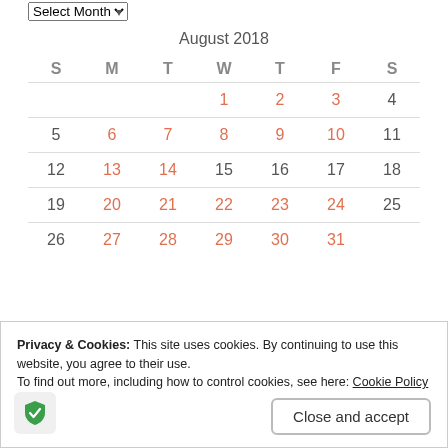| S | M | T | W | T | F | S |
| --- | --- | --- | --- | --- | --- | --- |
|  |  |  | 1 | 2 | 3 | 4 |
| 5 | 6 | 7 | 8 | 9 | 10 | 11 |
| 12 | 13 | 14 | 15 | 16 | 17 | 18 |
| 19 | 20 | 21 | 22 | 23 | 24 | 25 |
| 26 | 27 | 28 | 29 | 30 | 31 |  |
« Jul   Sep »
Privacy & Cookies: This site uses cookies. By continuing to use this website, you agree to their use.
To find out more, including how to control cookies, see here: Cookie Policy
Close and accept